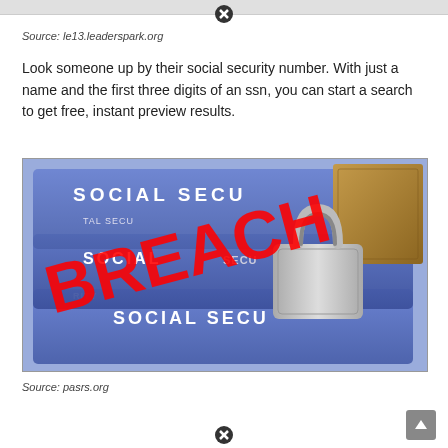Source: le13.leaderspark.org
Look someone up by their social security number. With just a name and the first three digits of an ssn, you can start a search to get free, instant preview results.
[Figure (photo): Social Security cards with 'BREACH' text overlaid in red, with a padlock on top]
Source: pasrs.org